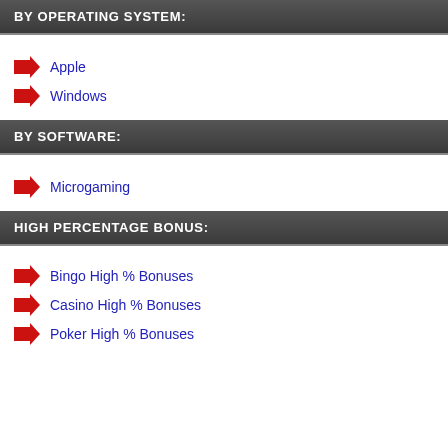BY OPERATING SYSTEM:
Apple
Windows
BY SOFTWARE:
Microgaming
HIGH PERCENTAGE BONUS:
Bingo High % Bonuses
Casino High % Bonuses
Poker High % Bonuses